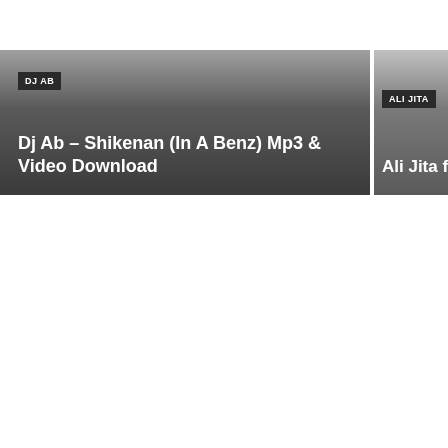[Figure (screenshot): Two partially visible website article cards side by side. Left card has a dark gradient background with a 'DJ AB' tag label and title 'Dj Ab – Shikenan (In A Benz) Mp3 & Video Download' in white text. Right card is partially cropped with 'ALI JITA' tag and partial title 'Ali Jita ft' visible.]